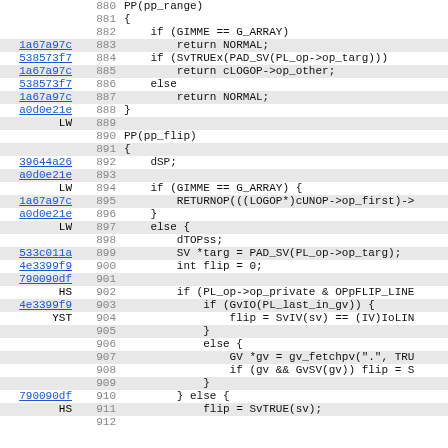[Figure (screenshot): Source code viewer showing C/Perl source code lines 880-911 with line numbers, git blame hashes (linked), and alternating row highlights. Code shows PP(pp_range) and PP(pp_flip) function implementations.]